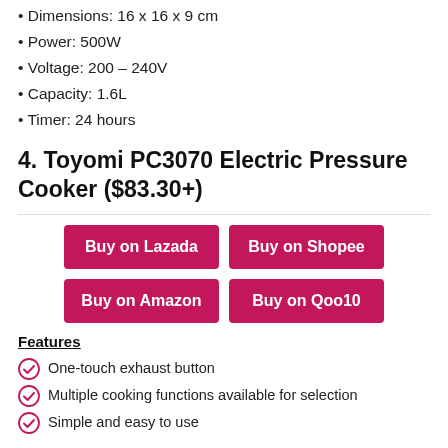Dimensions: 16 x 16 x 9 cm
Power: 500W
Voltage: 200 – 240V
Capacity: 1.6L
Timer: 24 hours
4. Toyomi PC3070 Electric Pressure Cooker ($83.30+)
Buy on Lazada | Buy on Shopee | Buy on Amazon | Buy on Qoo10
Features
One-touch exhaust button
Multiple cooking functions available for selection
Simple and easy to use